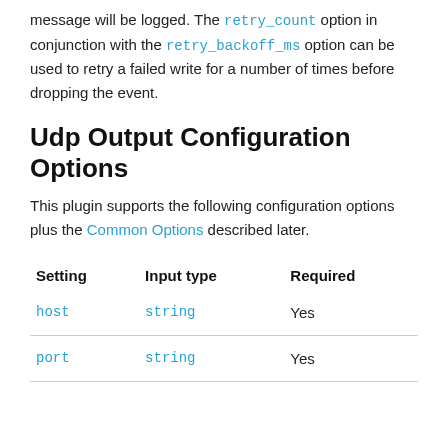message will be logged. The retry_count option in conjunction with the retry_backoff_ms option can be used to retry a failed write for a number of times before dropping the event.
Udp Output Configuration Options
This plugin supports the following configuration options plus the Common Options described later.
| Setting | Input type | Required |
| --- | --- | --- |
| host | string | Yes |
| port | string | Yes |